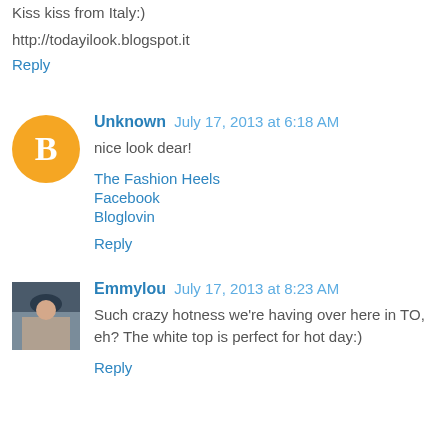Kiss kiss from Italy:)
http://todayilook.blogspot.it
Reply
Unknown  July 17, 2013 at 6:18 AM
nice look dear!
The Fashion Heels
Facebook
Bloglovin
Reply
Emmylou  July 17, 2013 at 8:23 AM
Such crazy hotness we're having over here in TO, eh? The white top is perfect for hot day:)
Reply